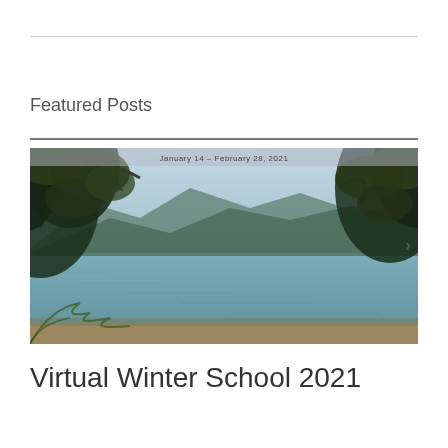Featured Posts
[Figure (photo): Lakeside nature scene viewed through overhanging tree branches, with mountains in background and calm blue-green water. Text overlay at top reads 'January 14 – February 28, 2021'.]
Virtual Winter School 2021